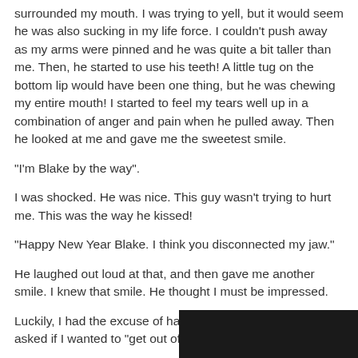surrounded my mouth. I was trying to yell, but it would seem he was also sucking in my life force. I couldn't push away as my arms were pinned and he was quite a bit taller than me. Then, he started to use his teeth! A little tug on the bottom lip would have been one thing, but he was chewing my entire mouth! I started to feel my tears well up in a combination of anger and pain when he pulled away. Then he looked at me and gave me the sweetest smile.
"I'm Blake by the way".
I was shocked. He was nice. This guy wasn't trying to hurt me. This was the way he kissed!
"Happy New Year Blake. I think you disconnected my jaw."
He laughed out loud at that, and then gave me another smile. I knew that smile. He thought I must be impressed.
Luckily, I had the excuse of having a boyfriend when he asked if I wanted to "get out of there".
[Figure (photo): Dark/black image strip at bottom right of page]